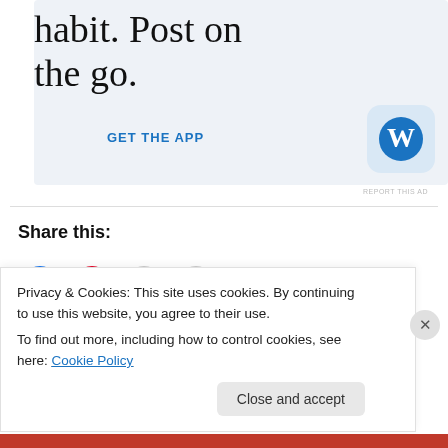[Figure (screenshot): WordPress app advertisement banner with large serif text 'habit. Post on the go.' and a 'GET THE APP' call-to-action with WordPress logo icon on a light blue-grey background]
REPORT THIS AD
Share this:
[Figure (screenshot): Social sharing icons: Facebook (blue), Pinterest (red), Email (grey), Print (grey) circular buttons]
Privacy & Cookies: This site uses cookies. By continuing to use this website, you agree to their use.
To find out more, including how to control cookies, see here: Cookie Policy
Close and accept